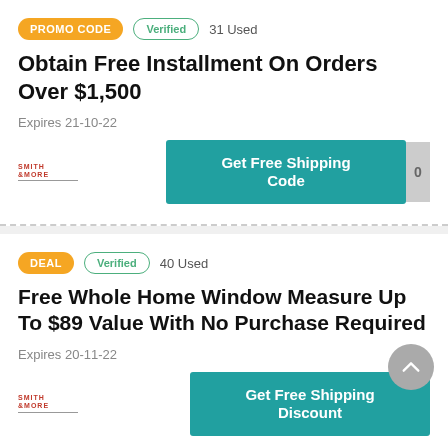PROMO CODE  Verified  31 Used
Obtain Free Installment On Orders Over $1,500
Expires 21-10-22
Get Free Shipping Code
DEAL  Verified  40 Used
Free Whole Home Window Measure Up To $89 Value With No Purchase Required
Expires 20-11-22
Get Free Shipping Discount